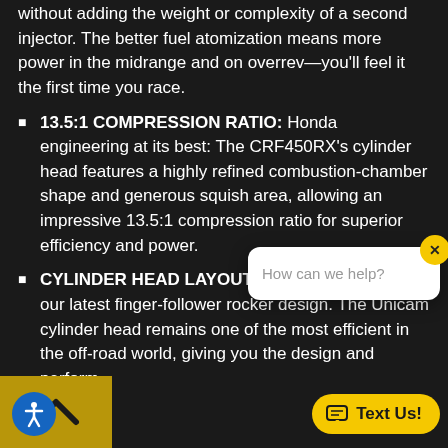without adding the weight or complexity of a second injector. The better fuel atomization means more power in the midrange and on overrev—you'll feel it the first time you race.
13.5:1 COMPRESSION RATIO: Honda engineering at its best: The CRF450RX's cylinder head features a highly refined combustion-chamber shape and generous squish area, allowing an impressive 13.5:1 compression ratio for superior efficiency and power.
CYLINDER HEAD LAYOUT: The CRF450RX uses our latest finger-follower rocker design. The Unicam cylinder head remains one of the most efficient in the off-road world, giving you the design and performance the competition demands.
SKID PLATE: A factory skid plate is lightweight engine and lower-frame protection the competition demands.
[Figure (screenshot): Chat popup overlay with 'How can we help?' text and close button, plus 'Text Us!' button at bottom right, accessibility icon at bottom left, and gold chevron bar at bottom left.]